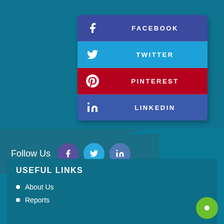[Figure (infographic): Social media buttons panel with Facebook (dark blue), Twitter (light blue), Pinterest (red), LinkedIn (medium blue) rows with icons and labels]
Follow Us
[Figure (infographic): Follow Us strip with Facebook, Twitter, LinkedIn circle icons]
USEFUL LINKS
About Us
Reports